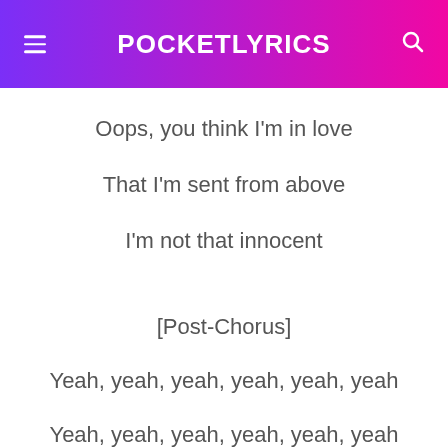POCKETLYRICS
Oops, you think I'm in love
That I'm sent from above
I'm not that innocent
[Post-Chorus]
Yeah, yeah, yeah, yeah, yeah, yeah
Yeah, yeah, yeah, yeah, yeah, yeah